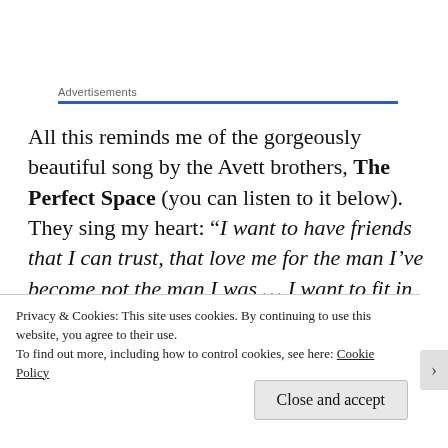Advertisements
All this reminds me of the gorgeously beautiful song by the Avett brothers, The Perfect Space (you can listen to it below).  They sing my heart: “I want to have friends that I can trust, that love me for the man I’ve become not the man I was … I want to fit in to the perfect space, feel natural and safe
Privacy & Cookies: This site uses cookies. By continuing to use this website, you agree to their use.
To find out more, including how to control cookies, see here: Cookie Policy
Close and accept